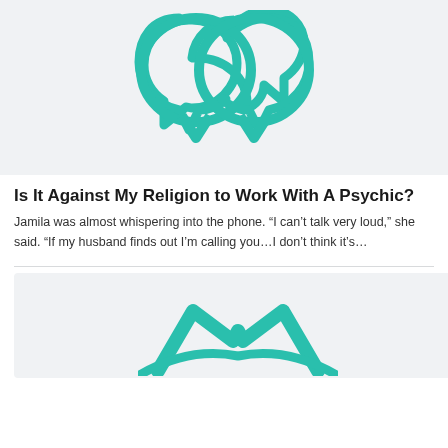[Figure (illustration): Teal/turquoise double speech bubble icon on light gray background]
Is It Against My Religion to Work With A Psychic?
Jamila was almost whispering into the phone. “I can’t talk very loud,” she said. “If my husband finds out I’m calling you…I don’t think it’s…
[Figure (illustration): Teal/turquoise crown or lotus icon on light gray background, partially visible]